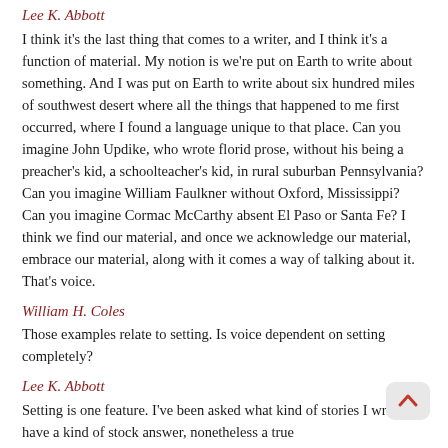Lee K. Abbott
I think it's the last thing that comes to a writer, and I think it's a function of material. My notion is we're put on Earth to write about something. And I was put on Earth to write about six hundred miles of southwest desert where all the things that happened to me first occurred, where I found a language unique to that place. Can you imagine John Updike, who wrote florid prose, without his being a preacher's kid, a schoolteacher's kid, in rural suburban Pennsylvania? Can you imagine William Faulkner without Oxford, Mississippi? Can you imagine Cormac McCarthy absent El Paso or Santa Fe? I think we find our material, and once we acknowledge our material, embrace our material, along with it comes a way of talking about it. That's voice.
William H. Coles
Those examples relate to setting. Is voice dependent on setting completely?
Lee K. Abbott
Setting is one feature. I've been asked what kind of stories I write. I have a kind of stock answer, nonetheless a true